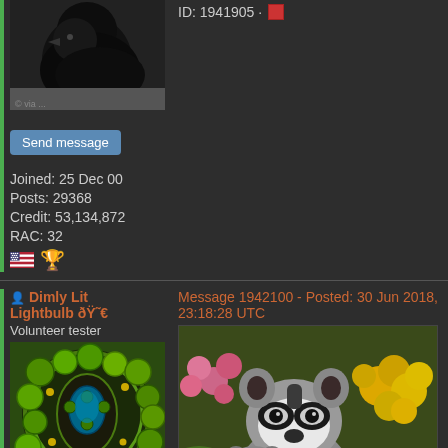[Figure (photo): Dark bird/crow avatar photo at top left]
ID: 1941905 · [red square icon]
Send message
Joined: 25 Dec 00
Posts: 29368
Credit: 53,134,872
RAC: 32
[Figure (illustration): US flag emoji and person raising hand emoji]
Dimly Lit Lightbulb 🯀€
Volunteer tester
Message 1942100 - Posted: 30 Jun 2018, 23:18:28 UTC
[Figure (photo): Abstract colorful circular pattern avatar (green/yellow/blue)]
Send message
Joined: 30 Aug 08
[Figure (photo): Two raccoons among pink and yellow flowers]